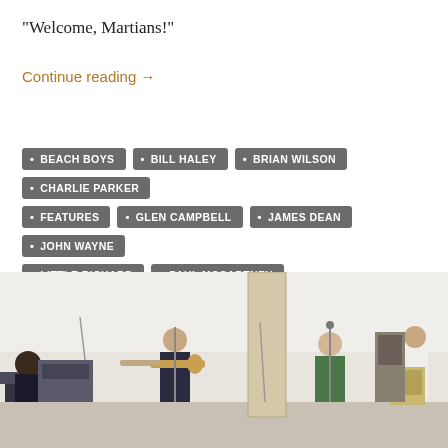“Welcome, Martians!”
Continue reading →
BEACH BOYS
BILL HALEY
BRIAN WILSON
CHARLIE PARKER
FEATURES
GLEN CAMPBELL
JAMES DEAN
JOHN WAYNE
LITTLE RICHARD
PAUL MCCARTNEY
[Figure (photo): Musicians in a recording studio session, showing several people with instruments including guitars, in a bright white room with microphone stands and amplifiers.]